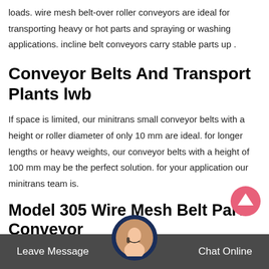loads. wire mesh belt-over roller conveyors are ideal for transporting heavy or hot parts and spraying or washing applications. incline belt conveyors carry stable parts up .
Conveyor Belts And Transport Plants lwb
If space is limited, our minitrans small conveyor belts with a height or roller diameter of only 10 mm are ideal. for longer lengths or heavy weights, our conveyor belts with a height of 100 mm may be the perfect solution. for your application our minitrans team is.
Model 305 Wire Mesh Belt Parts Conveyor